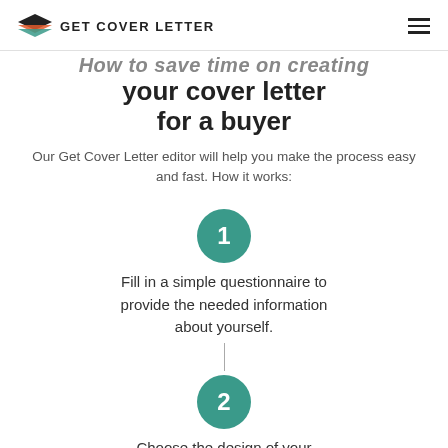GET COVER LETTER
How to save time on creating your cover letter for a buyer
Our Get Cover Letter editor will help you make the process easy and fast. How it works:
1 – Fill in a simple questionnaire to provide the needed information about yourself.
2 – Choose the design of your cover letter.